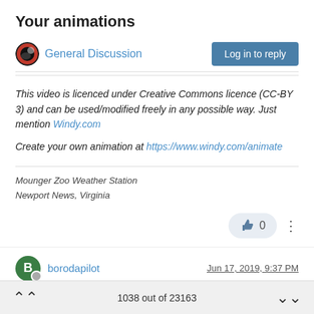Your animations
General Discussion
Log in to reply
This video is licenced under Creative Commons licence (CC-BY 3) and can be used/modified freely in any possible way. Just mention Windy.com
Create your own animation at https://www.windy.com/animate
Mounger Zoo Weather Station
Newport News, Virginia
0
borodapilot
Jun 17, 2019, 9:37 PM
1038 out of 23163